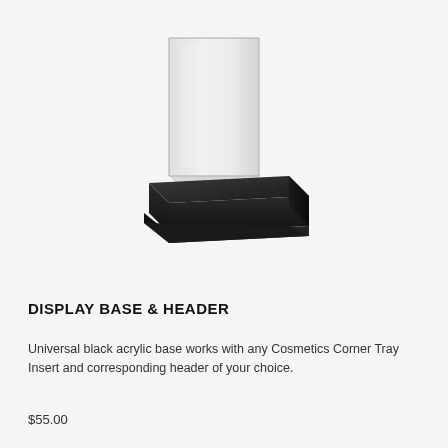[Figure (photo): A black acrylic display base with a clear acrylic header/sign panel rising vertically from the back. The base is a flat rectangular black platform viewed at an angle, and the header is a transparent rectangular panel standing upright at the rear of the base.]
DISPLAY BASE & HEADER
Universal black acrylic base works with any Cosmetics Corner Tray Insert and corresponding header of your choice.
$55.00